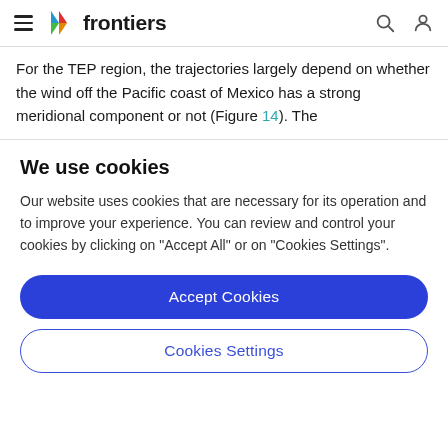frontiers
For the TEP region, the trajectories largely depend on whether the wind off the Pacific coast of Mexico has a strong meridional component or not (Figure 14). The
We use cookies
Our website uses cookies that are necessary for its operation and to improve your experience. You can review and control your cookies by clicking on "Accept All" or on "Cookies Settings".
Accept Cookies
Cookies Settings